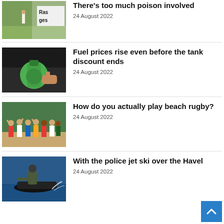[Figure (photo): Cricket field with a sign partially reading 'Ras... ges...']
There's too much poison involved
24 August 2022
[Figure (photo): Green fuel pump nozzle being held at a gas station]
Fuel prices rise even before the tank discount ends
24 August 2022
[Figure (photo): Group of people posing outdoors, beach rugby team]
How do you actually play beach rugby?
24 August 2022
[Figure (photo): Person in wetsuit riding a jet ski on water]
With the police jet ski over the Havel
24 August 2022